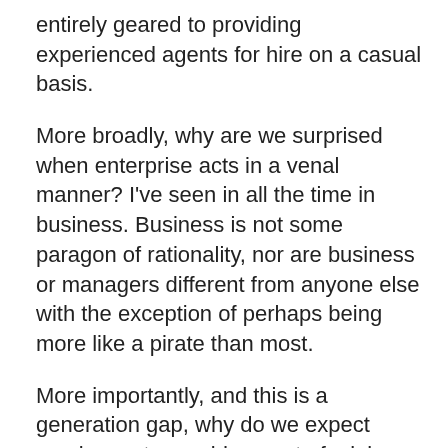entirely geared to providing experienced agents for hire on a casual basis.
More broadly, why are we surprised when enterprise acts in a venal manner? I've seen in all the time in business. Business is not some paragon of rationality, nor are business or managers different from anyone else with the exception of perhaps being more like a pirate than most.
More importantly, and this is a generation gap, why do we expect employers to provide a sort of mini welfare state in terms of pensions and health